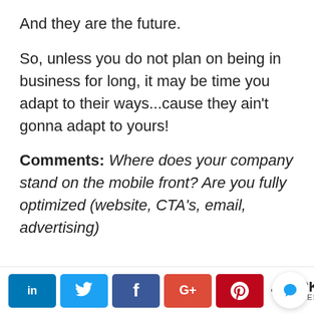And they are the future.
So, unless you do not plan on being in business for long, it may be time you adapt to their ways...cause they ain't gonna adapt to yours!
Comments: Where does your company stand on the mobile front? Are you fully optimized (website, CTA's, email, advertising)
[truncated line]
[Figure (screenshot): Social share bar with LinkedIn, Twitter, Facebook, Google+, Pinterest buttons and 2K shares count, plus chat bubble icon]